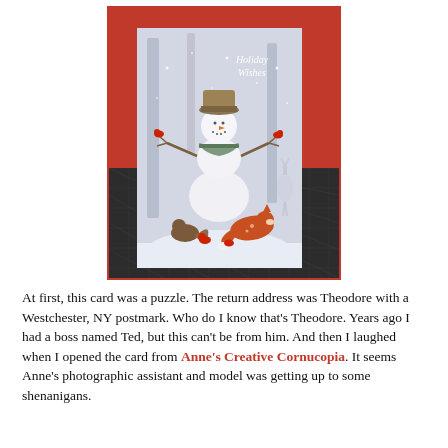[Figure (photo): A holiday greeting card showing a snowman with a knit hat and scarf, surrounded by woodland animals including a fox, squirrel, and cardinals in a snowy forest scene. Text on card reads 'Holiday Wishes'. The card is placed on a red envelope and a dark cutting mat background.]
At first, this card was a puzzle. The return address was Theodore with a Westchester, NY postmark. Who do I know that's Theodore. Years ago I had a boss named Ted, but this can't be from him. And then I laughed when I opened the card from Anne's Creative Cornucopia. It seems Anne's photographic assistant and model was getting up to some shenanigans.